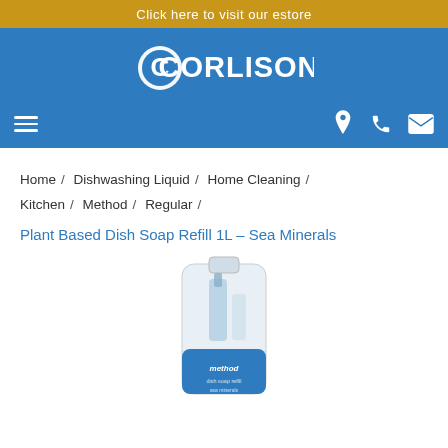Click here to visit our estore
[Figure (logo): Corlison company logo with stylized CS emblem and navigation icons on blue header background]
Home / Dishwashing Liquid / Home Cleaning / Kitchen / Method / Regular /
Plant Based Dish Soap Refill 1L – Sea Minerals
[Figure (photo): Method Plant Based Dish Soap Refill 1L Sea Minerals product in a white and blue refill pouch with a small bottle]